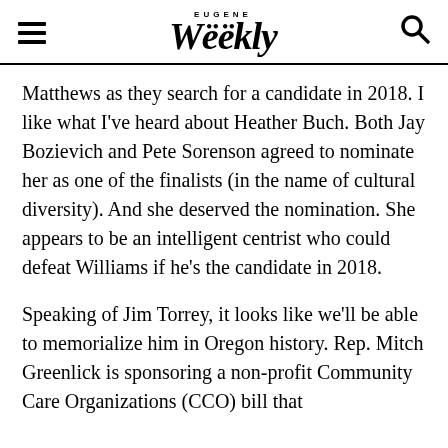EUGENE Weekly
Matthews as they search for a candidate in 2018. I like what I've heard about Heather Buch. Both Jay Bozievich and Pete Sorenson agreed to nominate her as one of the finalists (in the name of cultural diversity). And she deserved the nomination. She appears to be an intelligent centrist who could defeat Williams if he's the candidate in 2018.
Speaking of Jim Torrey, it looks like we'll be able to memorialize him in Oregon history. Rep. Mitch Greenlick is sponsoring a non-profit Community Care Organizations (CCO) bill that